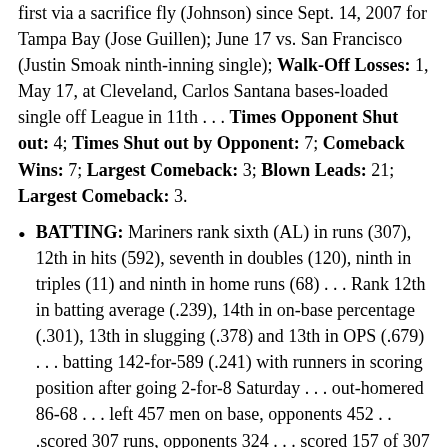first via a sacrifice fly (Johnson) since Sept. 14, 2007 for Tampa Bay (Jose Guillen); June 17 vs. San Francisco (Justin Smoak ninth-inning single); Walk-Off Losses: 1, May 17, at Cleveland, Carlos Santana bases-loaded single off League in 11th . . . Times Opponent Shut out: 4; Times Shut out by Opponent: 7; Comeback Wins: 7; Largest Comeback: 3; Blown Leads: 21; Largest Comeback: 3.
BATTING: Mariners rank sixth (AL) in runs (307), 12th in hits (592), seventh in doubles (120), ninth in triples (11) and ninth in home runs (68) . . . Rank 12th in batting average (.239), 14th in on-base percentage (.301), 13th in slugging (.378) and 13th in OPS (.679) . . . batting 142-for-589 (.241) with runners in scoring position after going 2-for-8 Saturday . . . out-homered 86-68 . . . left 457 men on base, opponents 452 . . .scored 307 runs, opponents 324 . . . scored 157 of 307 runs in the first four innings . . . Mariners 26-11 when scoring 4+ runs . . . Batting Average: Ichiro,